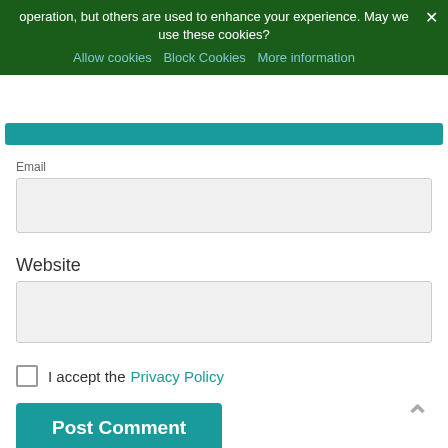operation, but others are used to enhance your experience. May we use these cookies?
Allow cookies   Block Cookies   More information
Email
Website
I accept the Privacy Policy
Post Comment